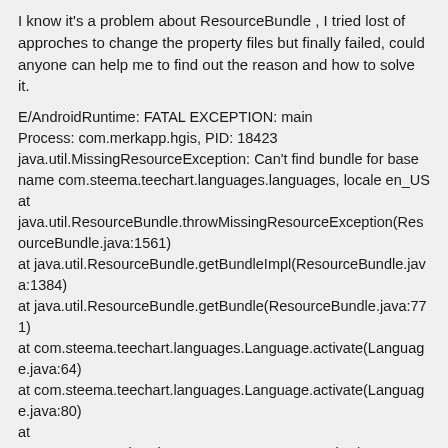I know it's a problem about ResourceBundle , I tried lost of approches to change the property files but finally failed, could anyone can help me to find out the reason and how to solve it.
E/AndroidRuntime: FATAL EXCEPTION: main
Process: com.merkapp.hgis, PID: 18423
java.util.MissingResourceException: Can't find bundle for base name com.steema.teechart.languages.languages, locale en_US
at
java.util.ResourceBundle.throwMissingResourceException(ResourceBundle.java:1561)
at java.util.ResourceBundle.getBundleImpl(ResourceBundle.java:1384)
at java.util.ResourceBundle.getBundle(ResourceBundle.java:771)
at com.steema.teechart.languages.Language.activate(Language.java:64)
at com.steema.teechart.languages.Language.activate(Language.java:80)
at
com.steema.teechart.languages.Language.getString(Language.java:86)
at com.steema.teechart.Chart.initFields(Chart.java:204)
at com.steema.teechart.Chart.<init>(Chart.java:529)
at com.steema.teechart.Chart.<init>(Chart.java:523)
at com.steema.teechart.TChart.<init>(TChart.java:337)
at com.steema.teechart.TChart.<init>(TChart.java:329)
at com.steema.teechart.TChart.<init>(TChart.java:325)
at com.merkapp.hgis.display.PRPS.<init>(PRPS.java:82)
at